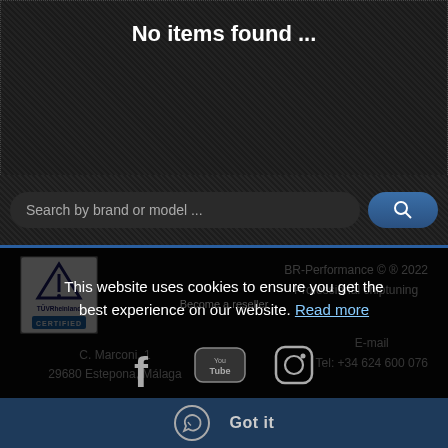No items found ...
Search by brand or model ...
[Figure (logo): TÜV Rheinland Certified logo — white square with blue triangle/arrow symbol, TÜVRheinland text, CERTIFIED blue banner]
BR-Performance © ® 2022
Professional chiptuning
C. Marconi, 1
29680 Estepona, Málaga
E-mail
Tel: +34 624 600 076
Sales conditions
Privacy policy
Become a reseller
This website uses cookies to ensure you get the best experience on our website. Read more
Got it